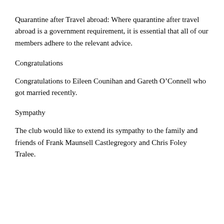Quarantine after Travel abroad: Where quarantine after travel abroad is a government requirement, it is essential that all of our members adhere to the relevant advice.
Congratulations
Congratulations to Eileen Counihan and Gareth O’Connell who got married recently.
Sympathy
The club would like to extend its sympathy to the family and friends of Frank Maunsell Castlegregory and Chris Foley Tralee.